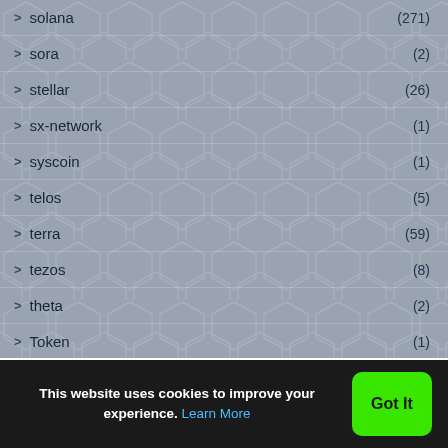> solana (271)
> sora (2)
> stellar (26)
> sx-network (1)
> syscoin (1)
> telos (5)
> terra (59)
> tezos (8)
> theta (2)
> Token (1)
> tomochain (2)
> tron (85)
This website uses cookies to improve your experience. Learn More Got It